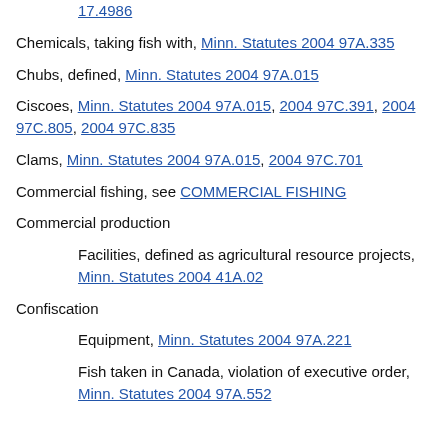17.4986
Chemicals, taking fish with, Minn. Statutes 2004 97A.335
Chubs, defined, Minn. Statutes 2004 97A.015
Ciscoes, Minn. Statutes 2004 97A.015, 2004 97C.391, 2004 97C.805, 2004 97C.835
Clams, Minn. Statutes 2004 97A.015, 2004 97C.701
Commercial fishing, see COMMERCIAL FISHING
Commercial production
Facilities, defined as agricultural resource projects, Minn. Statutes 2004 41A.02
Confiscation
Equipment, Minn. Statutes 2004 97A.221
Fish taken in Canada, violation of executive order, Minn. Statutes 2004 97A.552